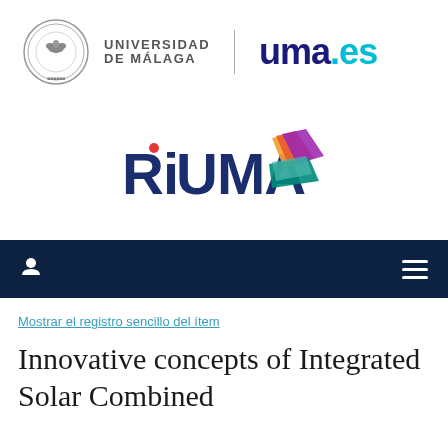[Figure (logo): Universidad de Málaga crest/shield logo alongside text 'UNIVERSIDAD DE MÁLAGA' and 'uma.es' wordmark]
[Figure (logo): RiUMA repository logo with colorful overlapping book/flag shapes in orange, red, purple, and teal]
[Figure (screenshot): Dark navy navigation bar with user icon on left and hamburger menu icon on right]
Mostrar el registro sencillo del ítem
Innovative concepts of Integrated Solar Combined